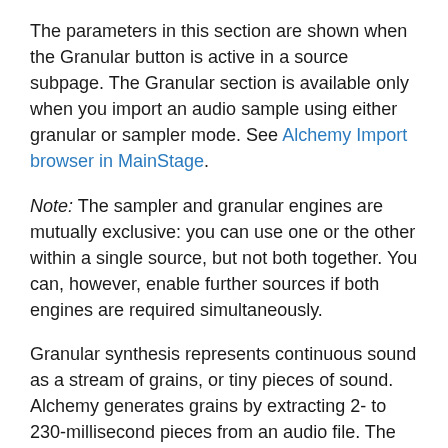The parameters in this section are shown when the Granular button is active in a source subpage. The Granular section is available only when you import an audio sample using either granular or sampler mode. See Alchemy Import browser in MainStage.
Note: The sampler and granular engines are mutually exclusive: you can use one or the other within a single source, but not both together. You can, however, enable further sources if both engines are required simultaneously.
Granular synthesis represents continuous sound as a stream of grains, or tiny pieces of sound. Alchemy generates grains by extracting 2- to 230-millisecond pieces from an audio file. The amplitude of each grain is shaped, along with any pitch and pan modifications, before the grain is